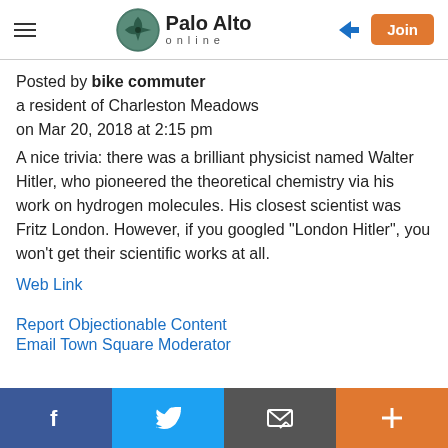Palo Alto online
Posted by bike commuter
a resident of Charleston Meadows
on Mar 20, 2018 at 2:15 pm
A nice trivia: there was a brilliant physicist named Walter Hitler, who pioneered the theoretical chemistry via his work on hydrogen molecules. His closest scientist was Fritz London. However, if you googled "London Hitler", you won't get their scientific works at all.
Web Link
Report Objectionable Content
Email Town Square Moderator